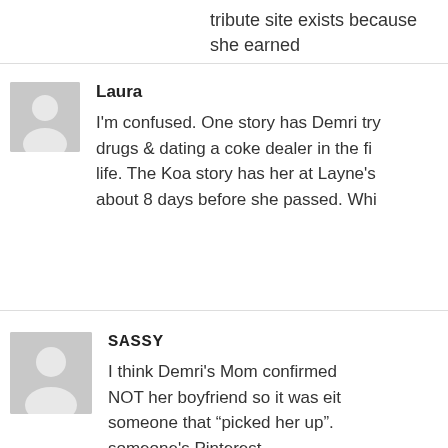tribute site exists because she earned
Laura

I'm confused. One story has Demri trying drugs & dating a coke dealer in the fi... life. The Koa story has her at Layne's about 8 days before she passed. Whi...
SASSY

I think Demri's Mom confirmed NOT her boyfriend so it was eit... someone that "picked her up". someone's Pinterest.